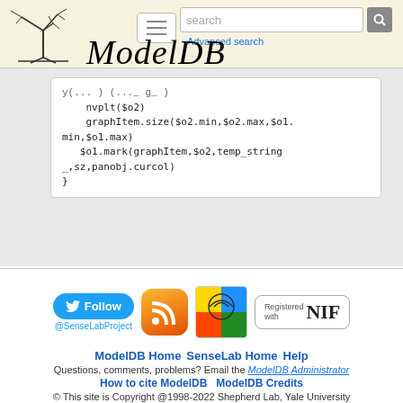ModelDB — Advanced search
y(...) {
    nvplt($o2)
    graphItem.size($o2.min,$o2.max,$o1.min,$o1.max)
    $o1.mark(graphItem,$o2,temp_string_,sz,panobj.curcol)
}
[Figure (screenshot): Social icons: Twitter Follow @SenseLabProject button, RSS feed icon, Neuroscience icon, NIF Registered badge]
ModelDB Home   SenseLab Home   Help
Questions, comments, problems? Email the ModelDB Administrator
How to cite ModelDB   ModelDB Credits
© This site is Copyright @1998-2022 Shepherd Lab, Yale University